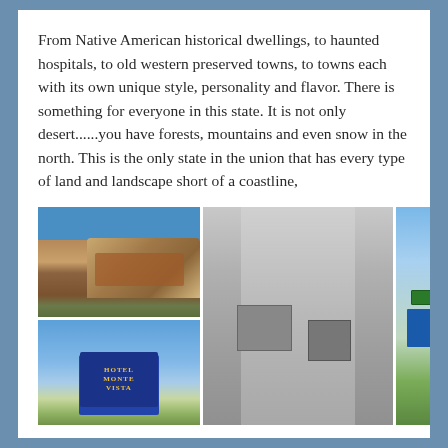From Native American historical dwellings, to haunted hospitals, to old western preserved towns, to towns each with its own unique style, personality and flavor. There is something for everyone in this state. It is not only desert......you have forests, mountains and even snow in the north. This is the only state in the union that has every type of land and landscape short of a coastline,
[Figure (photo): Three travel/tourism photos: (1) cliff dwellings in a rocky canyon, (2) Hotel Monte Vista sign against blue sky, (3) an old gray stucco pueblo-style building, (4) a highway sign showing 'Why / GAS - FOOD / LODGING / CAMPING' against green hills]